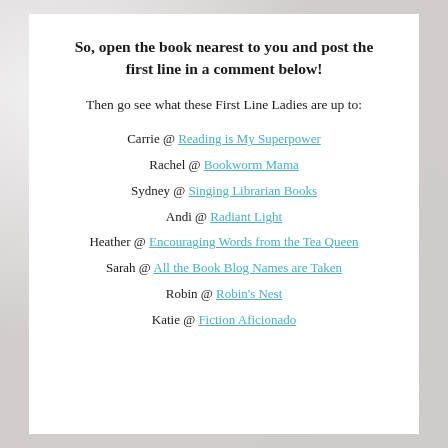So, open the book nearest to you and post the first line in a comment below!
Then go see what these First Line Ladies are up to:
Carrie @ Reading is My Superpower
Rachel @ Bookworm Mama
Sydney @ Singing Librarian Books
Andi @ Radiant Light
Heather @ Encouraging Words from the Tea Queen
Sarah @ All the Book Blog Names are Taken
Robin @ Robin's Nest
Katie @ Fiction Aficionado